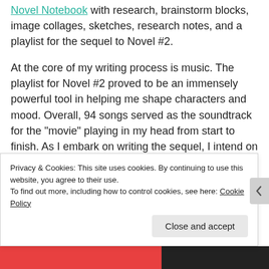Novel Notebook with research, brainstorm blocks, image collages, sketches, research notes, and a playlist for the sequel to Novel #2.
At the core of my writing process is music. The playlist for Novel #2 proved to be an immensely powerful tool in helping me shape characters and mood. Overall, 94 songs served as the soundtrack for the "movie" playing in my head from start to finish. As I embark on writing the sequel, I intend on using this tool once again to create a stronger
Privacy & Cookies: This site uses cookies. By continuing to use this website, you agree to their use.
To find out more, including how to control cookies, see here: Cookie Policy
Close and accept